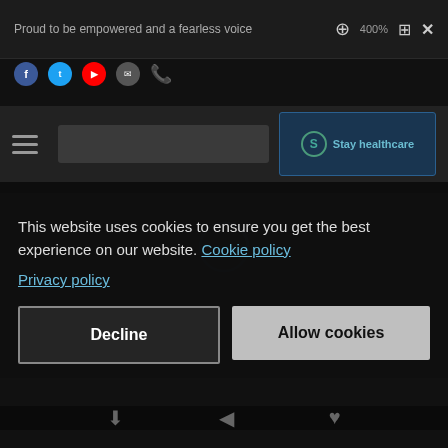Proud to be empowered and a fearless voice
[Figure (screenshot): Website screenshot with dark overlay showing navigation bar, social icons, hamburger menu, search bar, and a blue healthcare CTA button with loading spinner]
This website uses cookies to ensure you get the best experience on our website. Cookie policy
Privacy policy
Decline
Allow cookies